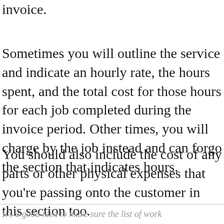invoice.
Sometimes you will outline the service and indicate an hourly rate, the hours spent, and the total cost for those hours for each job completed during the invoice period. Other times, you will charge by the job instead and can forgo the section that indicates hours.
You should also include the cost of any parts or other physical expenses that you're passing onto the customer in this section too.
It's a good idea to make sure the list of work